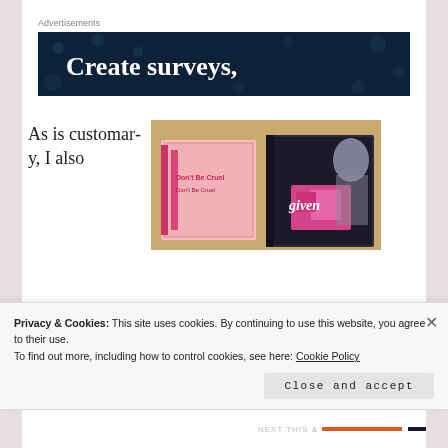Advertisements
[Figure (illustration): Dark navy blue advertisement banner with white serif bold text reading 'Create surveys,' with decorative dot pattern in background]
As is customary, I also
[Figure (photo): Photo of stacked manga books on a wooden surface, including titles 'Don't Be Cruel' and 'given']
Privacy & Cookies: This site uses cookies. By continuing to use this website, you agree to their use. To find out more, including how to control cookies, see here: Cookie Policy
Close and accept